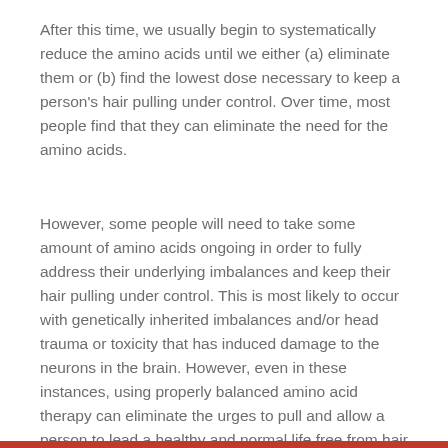After this time, we usually begin to systematically reduce the amino acids until we either (a) eliminate them or (b) find the lowest dose necessary to keep a person's hair pulling under control. Over time, most people find that they can eliminate the need for the amino acids.
However, some people will need to take some amount of amino acids ongoing in order to fully address their underlying imbalances and keep their hair pulling under control. This is most likely to occur with genetically inherited imbalances and/or head trauma or toxicity that has induced damage to the neurons in the brain. However, even in these instances, using properly balanced amino acid therapy can eliminate the urges to pull and allow a person to lead a healthy and normal life free from hair pulling.